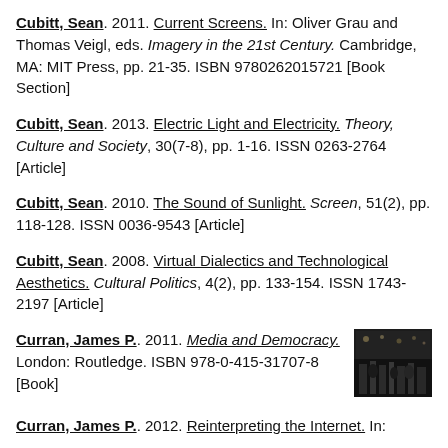Cubitt, Sean. 2011. Current Screens. In: Oliver Grau and Thomas Veigl, eds. Imagery in the 21st Century. Cambridge, MA: MIT Press, pp. 21-35. ISBN 9780262015721 [Book Section]
Cubitt, Sean. 2013. Electric Light and Electricity. Theory, Culture and Society, 30(7-8), pp. 1-16. ISSN 0263-2764 [Article]
Cubitt, Sean. 2010. The Sound of Sunlight. Screen, 51(2), pp. 118-128. ISSN 0036-9543 [Article]
Cubitt, Sean. 2008. Virtual Dialectics and Technological Aesthetics. Cultural Politics, 4(2), pp. 133-154. ISSN 1743-2197 [Article]
Curran, James P.. 2011. Media and Democracy. London: Routledge. ISBN 978-0-415-31707-8 [Book]
[Figure (photo): Small thumbnail image of a book cover for Media and Democracy, showing a dark indoor scene with figures]
Curran, James P.. 2012. Reinterpreting the Internet. In: